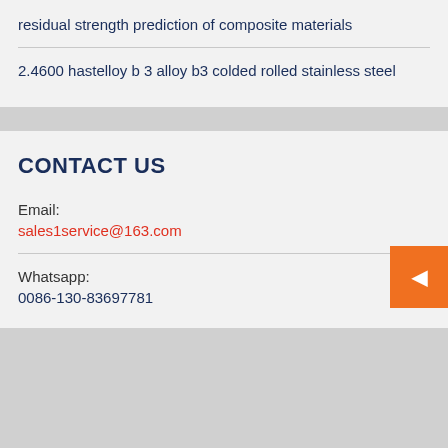residual strength prediction of composite materials
2.4600 hastelloy b 3 alloy b3 colded rolled stainless steel
CONTACT US
Email:
sales1service@163.com
Whatsapp:
0086-130-83697781